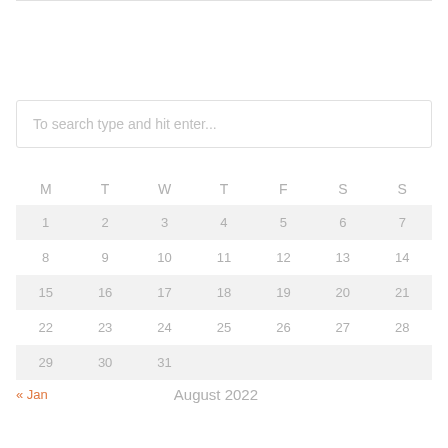To search type and hit enter...
| M | T | W | T | F | S | S |
| --- | --- | --- | --- | --- | --- | --- |
| 1 | 2 | 3 | 4 | 5 | 6 | 7 |
| 8 | 9 | 10 | 11 | 12 | 13 | 14 |
| 15 | 16 | 17 | 18 | 19 | 20 | 21 |
| 22 | 23 | 24 | 25 | 26 | 27 | 28 |
| 29 | 30 | 31 |  |  |  |  |
August 2022
« Jan